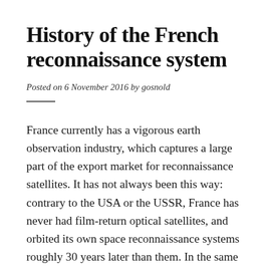History of the French reconnaissance system
Posted on 6 November 2016 by gosnold
France currently has a vigorous earth observation industry, which captures a large part of the export market for reconnaissance satellites. It has not always been this way: contrary to the USA or the USSR, France has never had film-return optical satellites, and orbited its own space reconnaissance systems roughly 30 years later than them. In the same